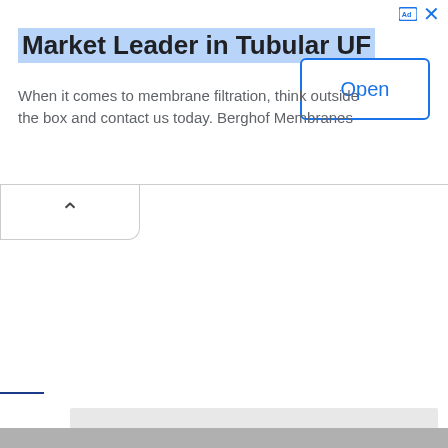[Figure (screenshot): Advertisement banner for Berghof Membranes: title 'Market Leader in Tubular UF', body text 'When it comes to membrane filtration, think outside the box and contact us today. Berghof Membranes', with an 'Open' button on the right, and ad/close icons in the top-right corner.]
[Figure (screenshot): UI collapse/expand tab with an upward chevron (^) icon, indicating a collapsible panel below the ad banner.]
[Figure (screenshot): Partial page content area with a thin blue horizontal line and a gray skeleton/loading bar, indicating content is loading or partially rendered.]